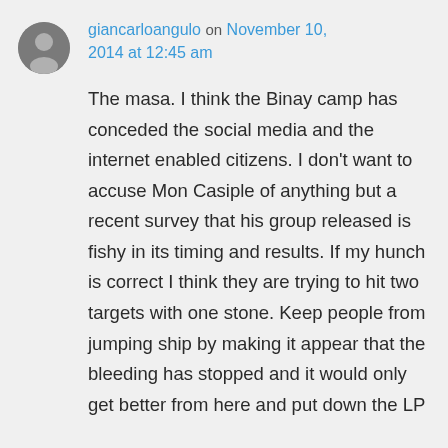giancarloangulo on November 10, 2014 at 12:45 am
The masa. I think the Binay camp has conceded the social media and the internet enabled citizens. I don't want to accuse Mon Casiple of anything but a recent survey that his group released is fishy in its timing and results. If my hunch is correct I think they are trying to hit two targets with one stone. Keep people from jumping ship by making it appear that the bleeding has stopped and it would only get better from here and put down the LP